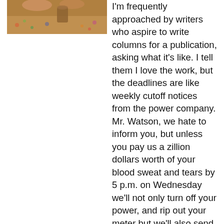[Figure (photo): Partial photo of a person's hands near a table with a drink, colorful patterned background, cropped at the top of the page on the left side]
I'm frequently approached by writers who aspire to write columns for a publication, asking what it's like. I tell them I love the work, but the deadlines are like weekly cutoff notices from the power company. Mr. Watson, we hate to inform you, but unless you pay us a zillion dollars worth of your blood sweat and tears by 5 p.m. on Wednesday we'll not only turn off your power, and rip out your meter but we'll also send Guido to your house to grind your brain up and sell if for Vienna sausage. Guido will also kick your dog just for good measure.
Sooooooo, after I'd tapped the letters off my keyboard, I rounded up Jilda and the dog to go for a long walk.  A gentle breeze out of the west made the oak and hickory leaves do a little hula dance, and the sun warmed my face. It felt good to be alive, and I wondered why I'd been so stressed....I had plenty of time before my deadline.
Once back in the house, I grabbed the laptop and headed to the screen porch. After watching the silhouette of a moth inch up the screen, an idea came to me as suddenly as